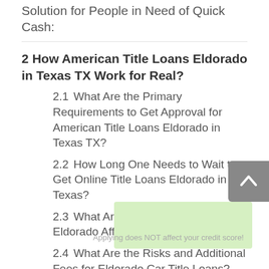Solution for People in Need of Quick Cash:
2  How American Title Loans Eldorado in Texas TX Work for Real?
2.1  What Are the Primary Requirements to Get Approval for American Title Loans Eldorado in Texas TX?
2.2  How Long One Needs to Wait to Get Online Title Loans Eldorado in Texas?
2.3  What Are the Limits to Receive Eldorado Affordable Title Loans?
2.4  What Are the Risks and Additional Fees for Eldorado Car Title Loans?
3  Is It Effortless to Receive Car Title Loans Eldorado in Texas TX Now?
Applying does NOT affect your credit score!
3.1  Why Lenders May Reject in Getting Eldorado Car Title Loans?